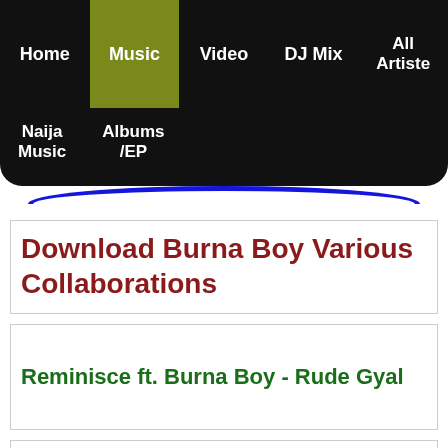Home | Music | Video | DJ Mix | All Artiste
Naija Music | Albums /EP
Download Burna Boy Various Collaborations
Reminisce ft. Burna Boy - Rude Gyal
DJ Spinall ft. Burna Boy - Serious